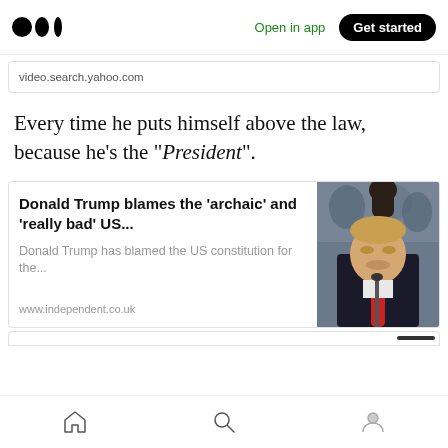Medium app header — Open in app | Get started
video.search.yahoo.com
Every time he puts himself above the law, because he's the “President”.
[Figure (screenshot): News card from www.independent.co.uk with headline 'Donald Trump blames the ‘archaic’ and ‘really bad’ US...' and description 'Donald Trump has blamed the US constitution for the...' with a photo of Donald Trump at a rally with fist raised]
Mobile bottom navigation bar with home, search, and profile icons